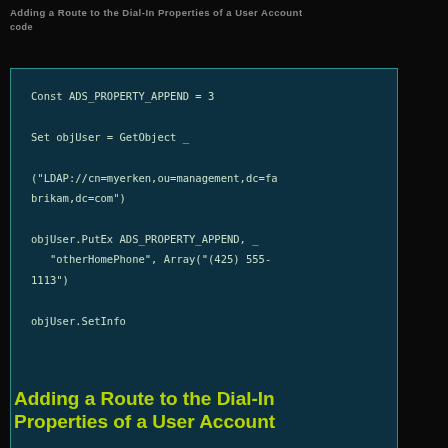Adding a Route to the Dial-In Properties of a User Account
[Figure (screenshot): Code block on dark teal background showing VBScript code: Const ADS_PROPERTY_APPEND = 3, Set objUser = GetObject _, ("LDAP://cn=myerken,ou=management,dc=fabrikam,dc=com"), objUser.PutEx ADS_PROPERTY_APPEND, _ "otherHomePhone", Array("(425) 555-1113"), objUser.SetInfo]
Adding a Route to the Dial-In Properties of a User Account